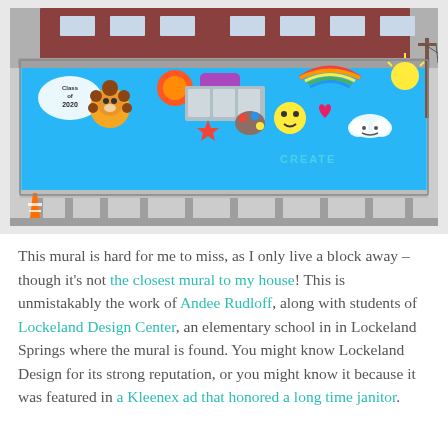[Figure (photo): Photograph of a colorful school mural painted on the side of a portable building in front of a brick school building. The mural includes cartoonish figures, a lion, rainbow, art supplies, emojis, and the text 'Class of 2020' and 'CREATE'. A traffic cone is visible on the left.]
This mural is hard for me to miss, as I only live a block away – though it's not the closest mural to my house! This is unmistakably the work of Andee Rudloff, along with students of Lockeland Design Center, an elementary school in in Lockeland Springs where the mural is found. You might know Lockeland Design for its strong reputation, or you might know it because it was featured in a Kleenex ad that honored a long time janitor.